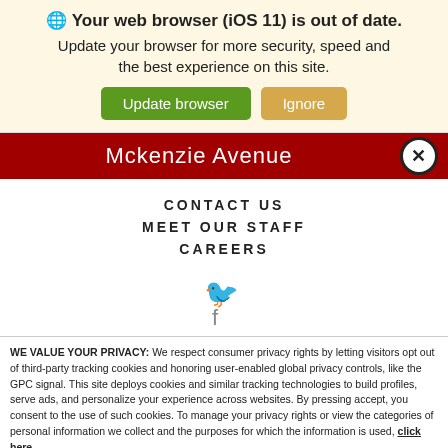🌐 Your web browser (iOS 11) is out of date. Update your browser for more security, speed and the best experience on this site.
Update browser | Ignore
Mckenzie Avenue
CONTACT US
MEET OUR STAFF
CAREERS
[Figure (illustration): Twitter bird icon and partial Facebook icon in gray]
WE VALUE YOUR PRIVACY: We respect consumer privacy rights by letting visitors opt out of third-party tracking cookies and honoring user-enabled global privacy controls, like the GPC signal. This site deploys cookies and similar tracking technologies to build profiles, serve ads, and personalize your experience across websites. By pressing accept, you consent to the use of such cookies. To manage your privacy rights or view the categories of personal information we collect and the purposes for which the information is used, click here.
Language: English ∨ Powered by ComplyAuto
Accept and Continue → | Privacy Policy | X